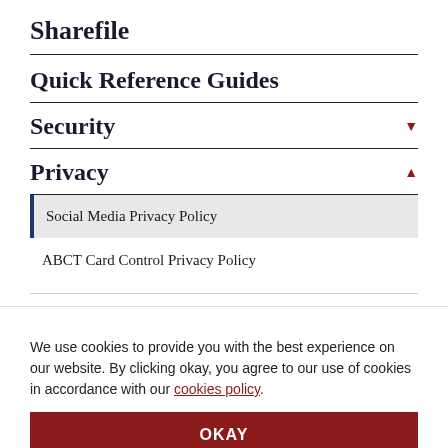Sharefile
Quick Reference Guides
Security ▼
Privacy ▲
Social Media Privacy Policy
ABCT Card Control Privacy Policy
We use cookies to provide you with the best experience on our website. By clicking okay, you agree to our use of cookies in accordance with our cookies policy.
OKAY